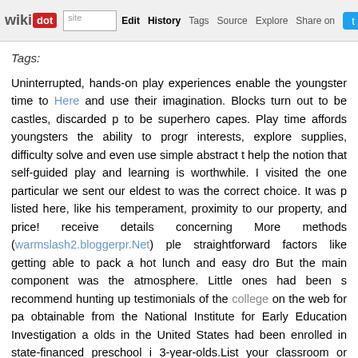wikidot | site | Edit | History | Tags | Source | Explore | Share on [twitter]
Tags:
Uninterrupted, hands-on play experiences enable the youngster time to Here and use their imagination. Blocks turn out to be castles, discarded p to be superhero capes. Play time affords youngsters the ability to progr interests, explore supplies, difficulty solve and even use simple abstract t help the notion that self-guided play and learning is worthwhile. I visited the one particular we sent our eldest to was the correct choice. It was p listed here, like his temperament, proximity to our property, and price! receive details concerning More methods (warmslash2.bloggerpr.Net) ple straightforward factors like getting able to pack a hot lunch and easy dro But the main component was the atmosphere. Little ones had been s recommend hunting up testimonials of the college on the web for pa obtainable from the National Institute for Early Education Investigation a olds in the United States had been enrolled in state-financed preschool i 3-year-olds.List your classroom or course policies. Course policies behavioral and academic expectations. This section will give your stu conduct themselves although in your classroom or although engaging choosing a final decision. Just like your writing demands proofreading poster ought to be reviewed several times just before you print it. Make catching, easy, and conveys the message you want it to. Ask other folks eyes will see things you may possibly have missed. Revise the poster u be.Parents need to check out the preschool and chat to the manager occasions, lunch policy, the typical daily routine of children and wheth scheme and if there are optional extras to take into account.I consid educated and blahhhh), are missing to connect, have physical love with t kid. Sometimes children's excitement carries them via the initial few days